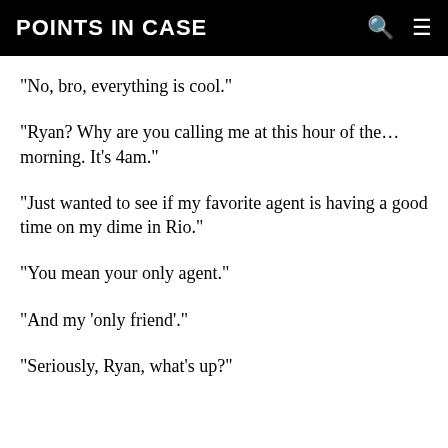POINTS IN CASE
"No, bro, everything is cool."
"Ryan? Why are you calling me at this hour of the... morning. It's 4am."
"Just wanted to see if my favorite agent is having a good time on my dime in Rio."
"You mean your only agent."
"And my 'only friend'."
"Seriously, Ryan, what's up?"